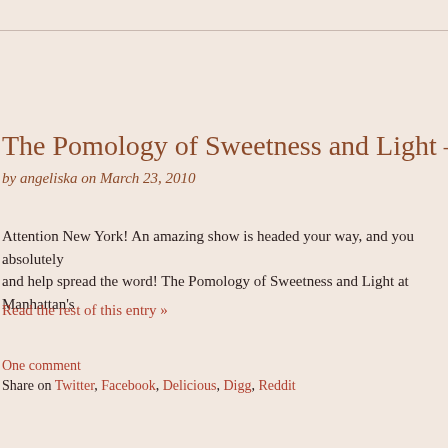The Pomology of Sweetness and Light – NYC
by angeliska on March 23, 2010
Attention New York! An amazing show is headed your way, and you absolutely and help spread the word! The Pomology of Sweetness and Light at Manhattan's
Read the rest of this entry »
One comment
Share on Twitter, Facebook, Delicious, Digg, Reddit